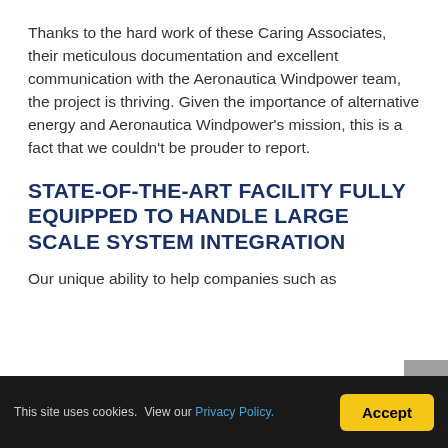Thanks to the hard work of these Caring Associates, their meticulous documentation and excellent communication with the Aeronautica Windpower team, the project is thriving. Given the importance of alternative energy and Aeronautica Windpower's mission, this is a fact that we couldn't be prouder to report.
STATE-OF-THE-ART FACILITY FULLY EQUIPPED TO HANDLE LARGE SCALE SYSTEM INTEGRATION
Our unique ability to help companies such as
This site uses cookies.  View our Privacy Policy.   Accept